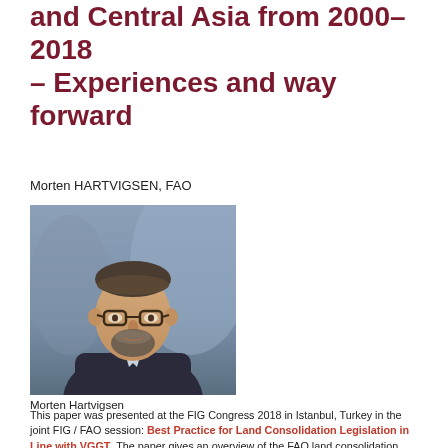and Central Asia from 2000–2018 – Experiences and way forward
Morten HARTVIGSEN, FAO
[Figure (photo): Portrait photo of Morten Hartvigsen, a middle-aged man with glasses and a beard, wearing a dark suit jacket, photographed outdoors.]
Morten Hartvigsen
This paper was presented at the FIG Congress 2018 in Istanbul, Turkey in the joint FIG / FAO session: Best Practice for Land Consolidation Legislation in Line with VGGT. The paper gives an overview of the FAO land consolidation programme from 2000